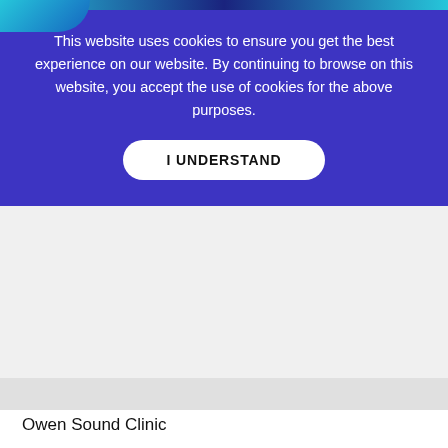This website uses cookies to ensure you get the best experience on our website. By continuing to browse on this website, you accept the use of cookies for the above purposes.
I UNDERSTAND
Owen Sound Clinic
1415 1st Ave W #1023, Owen Sound, ON N4K 4W8
(519) 371-6611
Oxygénothérapie